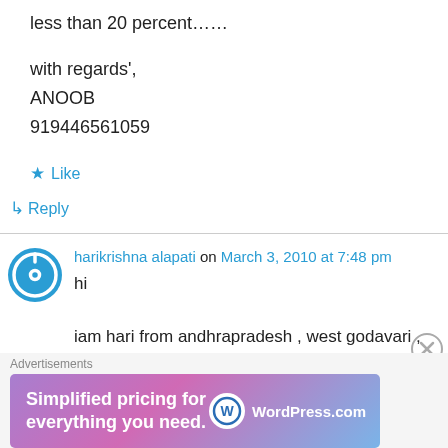less than 20 percent……
with regards',
ANOOB
919446561059
Like
↳ Reply
harikrishna alapati on March 3, 2010 at 7:48 pm
hi
iam hari from andhrapradesh , west godavari , kovvur , iam intrested to set up waste to energy power plant using MSW(mass burn) so pls give
Advertisements
[Figure (illustration): WordPress.com advertisement banner with purple-blue gradient background, text 'Simplified pricing for everything you need.' and WordPress.com logo on the right]